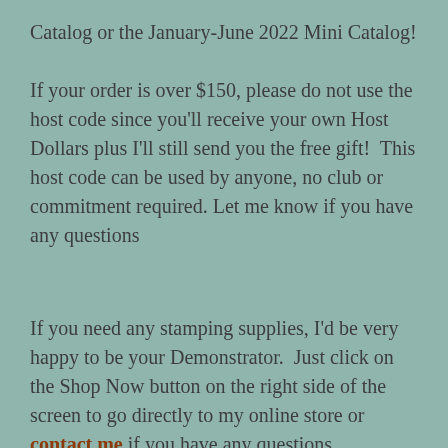Catalog or the January-June 2022 Mini Catalog!

If your order is over $150, please do not use the host code since you'll receive your own Host Dollars plus I'll still send you the free gift!  This host code can be used by anyone, no club or commitment required. Let me know if you have any questions
If you need any stamping supplies, I'd be very happy to be your Demonstrator.  Just click on the Shop Now button on the right side of the screen to go directly to my online store or contact me if you have any questions.